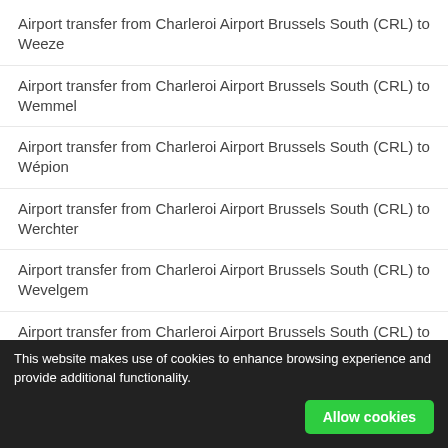Airport transfer from Charleroi Airport Brussels South (CRL) to Weeze
Airport transfer from Charleroi Airport Brussels South (CRL) to Wemmel
Airport transfer from Charleroi Airport Brussels South (CRL) to Wépion
Airport transfer from Charleroi Airport Brussels South (CRL) to Werchter
Airport transfer from Charleroi Airport Brussels South (CRL) to Wevelgem
Airport transfer from Charleroi Airport Brussels South (CRL) to Wezembeek-Oppem
Airport transfer from Charleroi Airport Brussels South (CRL) to Welkenraedt (partially visible)
This website makes use of cookies to enhance browsing experience and provide additional functionality.
Allow cookies